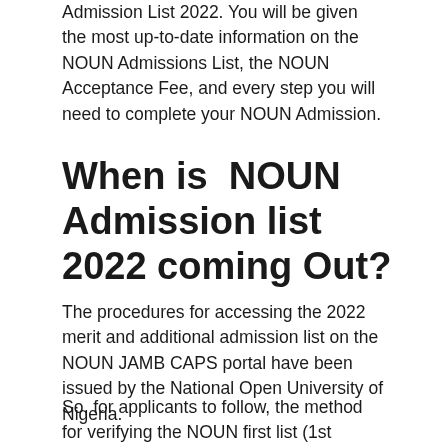Admission List 2022. You will be given the most up-to-date information on the NOUN Admissions List, the NOUN Acceptance Fee, and every step you will need to complete your NOUN Admission.
When is  NOUN Admission list 2022 coming Out?
The procedures for accessing the 2022 merit and additional admission list on the NOUN JAMB CAPS portal have been issued by the National Open University of Nigeria.
So, for applicants to follow, the method for verifying the NOUN first list (1st batch), second list (2nd batch), or third list (3rd list) is now available online.